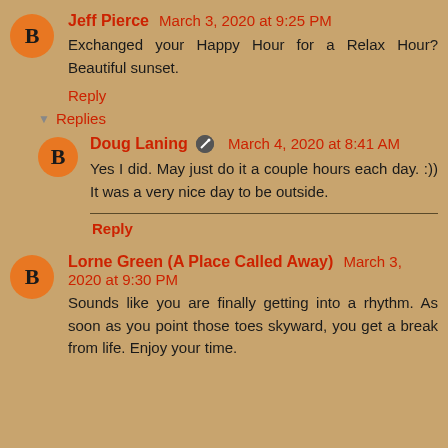Jeff Pierce March 3, 2020 at 9:25 PM
Exchanged your Happy Hour for a Relax Hour? Beautiful sunset.
Reply
Replies
Doug Laning March 4, 2020 at 8:41 AM
Yes I did. May just do it a couple hours each day. :)) It was a very nice day to be outside.
Reply
Lorne Green (A Place Called Away) March 3, 2020 at 9:30 PM
Sounds like you are finally getting into a rhythm. As soon as you point those toes skyward, you get a break from life. Enjoy your time.